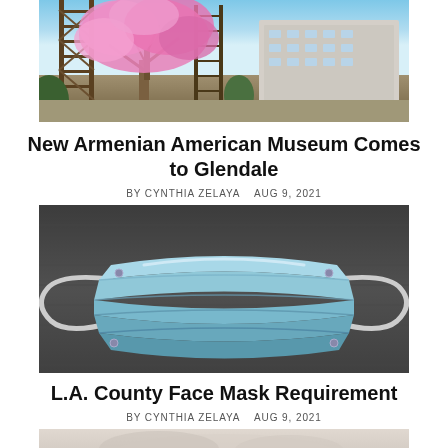[Figure (photo): Outdoor photo showing a pink flowering tree, construction scaffolding towers on the left, and a large building in the background under a blue sky.]
New Armenian American Museum Comes to Glendale
BY CYNTHIA ZELAYA   AUG 9, 2021
[Figure (photo): Close-up photo of a light blue disposable surgical face mask laid flat on a dark gray fabric background.]
L.A. County Face Mask Requirement
BY CYNTHIA ZELAYA   AUG 9, 2021
[Figure (photo): Partially visible photo at the bottom of the page, cropped, appears to show hands or a close-up scene.]